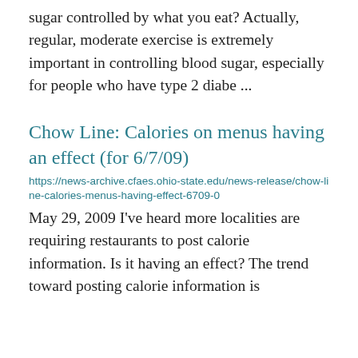sugar controlled by what you eat? Actually, regular, moderate exercise is extremely important in controlling blood sugar, especially for people who have type 2 diabe ...
Chow Line: Calories on menus having an effect (for 6/7/09)
https://news-archive.cfaes.ohio-state.edu/news-release/chow-line-calories-menus-having-effect-6709-0
May 29, 2009 I've heard more localities are requiring restaurants to post calorie information. Is it having an effect? The trend toward posting calorie information is